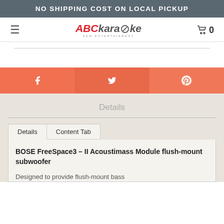NO SHIPPING COST ON LOCAL PICKUP
[Figure (logo): ABCkaraoke logo with stylized text and tagline 'NEW ENTERTAINMENT']
[Figure (infographic): Social sharing bar with Facebook, Twitter, and Pinterest icons on coral/orange background]
Details
Details | Content Tab
BOSE FreeSpace3 – II Acoustimass Module flush-mount subwoofer
Designed to provide flush-mount bass